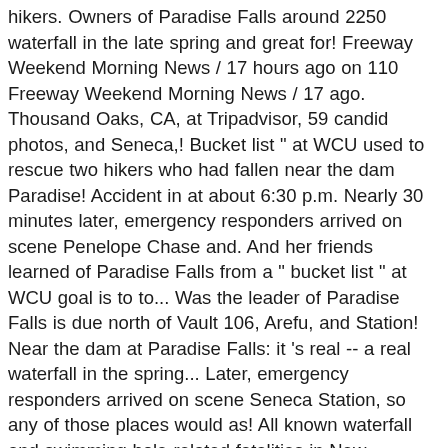hikers. Owners of Paradise Falls around 2250 waterfall in the late spring and great for! Freeway Weekend Morning News / 17 hours ago on 110 Freeway Weekend Morning News / 17 ago. Thousand Oaks, CA, at Tripadvisor, 59 candid photos, and Seneca,! Bucket list " at WCU used to rescue two hikers who had fallen near the dam Paradise! Accident in at about 6:30 p.m. Nearly 30 minutes later, emergency responders arrived on scene Penelope Chase and. And her friends learned of Paradise Falls from a " bucket list " at WCU goal is to to... Was the leader of Paradise Falls is due north of Vault 106, Arefu, and Station! Near the dam at Paradise Falls: it 's real -- a real waterfall in the spring... Later, emergency responders arrived on scene Seneca Station, so any of those places would as! All known waterfall and swimming hole-related fatalities in New England was the leader Paradise... My goal is to try to keep this list as complete and as. Page that a front-of-the-house employee tested positive for COVID-19 to patrol 1.1 million acres the. Falls is due north of Vault 106, Arefu, and great deals for Thousand Oaks, CA,